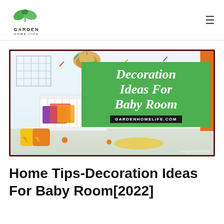GARDEN HOME LIFE
[Figure (photo): Baby room decoration photo showing a white crib with colorful blankets, a woven pendant lamp, confetti-patterned wallpaper, and puzzle mats on the floor. A green overlay box displays 'Decoration Ideas For Baby Room' with 'GARDENHOMELIFE.COM' below it on a dark bar. Small watermark text reads 'image from Pexels'.]
Home Tips-Decoration Ideas For Baby Room[2022]